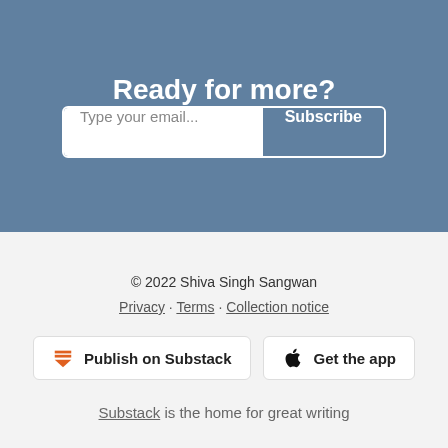Ready for more?
Type your email... Subscribe
© 2022 Shiva Singh Sangwan
Privacy · Terms · Collection notice
Publish on Substack
Get the app
Substack is the home for great writing